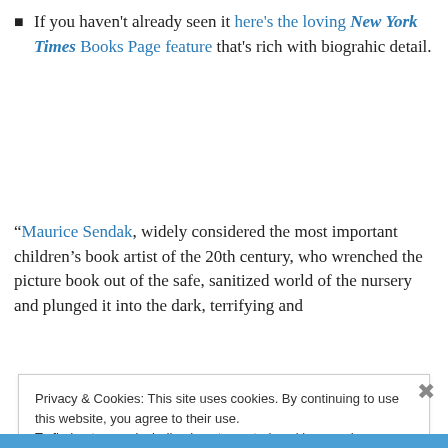If you haven't already seen it here's the loving New York Times Books Page feature that's rich with biograhic detail.
“Maurice Sendak, widely considered the most important children’s book artist of the 20th century, who wrenched the picture book out of the safe, sanitized world of the nursery and plunged it into the dark, terrifying and
Privacy & Cookies: This site uses cookies. By continuing to use this website, you agree to their use.
To find out more, including how to control cookies, see here: Cookie Policy